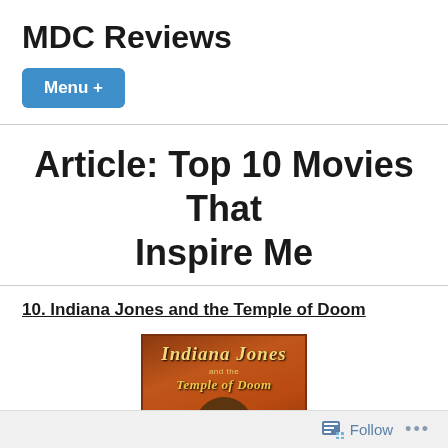MDC Reviews
Menu +
Article: Top 10 Movies That Inspire Me
10. Indiana Jones and the Temple of Doom
[Figure (photo): Movie poster for Indiana Jones and the Temple of Doom showing the title text in stylized lettering and a figure wearing an iconic fedora hat against an orange-brown background.]
Follow ...